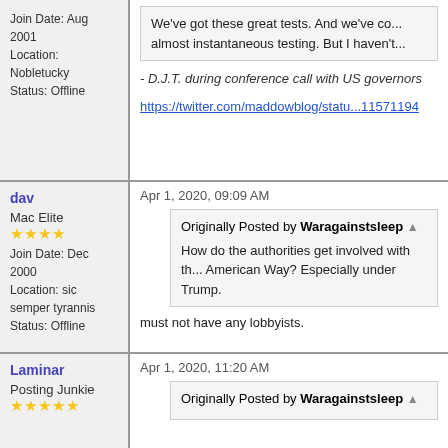Join Date: Aug 2001
Location: Nobletucky
Status: Offline
We've got these great tests. And we've co... almost instantaneous testing. But I haven't...
- D.J.T. during conference call with US governors
https://twitter.com/maddowblog/statu...11571194
dav
Apr 1, 2020, 09:09 AM
Mac Elite
Join Date: Dec 2000
Location: sic semper tyrannis
Status: Offline
Originally Posted by Waragainstsleep
How do the authorities get involved with th... American Way? Especially under Trump.
must not have any lobbyists.
Laminar
Apr 1, 2020, 11:20 AM
Posting Junkie
Originally Posted by Waragainstsleep